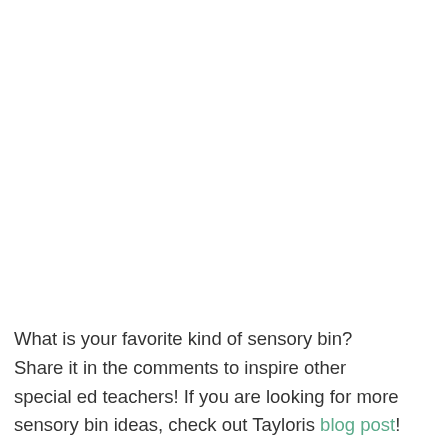What is your favorite kind of sensory bin? Share it in the comments to inspire other special ed teachers! If you are looking for more sensory bin ideas, check out Tayloris blog post!